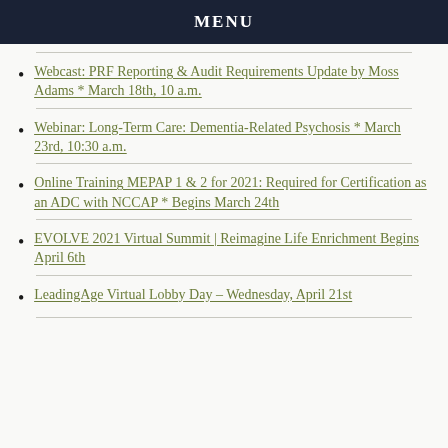MENU
Webcast: PRF Reporting & Audit Requirements Update by Moss Adams * March 18th, 10 a.m.
Webinar: Long-Term Care: Dementia-Related Psychosis * March 23rd, 10:30 a.m.
Online Training MEPAP 1 & 2 for 2021: Required for Certification as an ADC with NCCAP * Begins March 24th
EVOLVE 2021 Virtual Summit | Reimagine Life Enrichment Begins April 6th
LeadingAge Virtual Lobby Day – Wednesday, April 21st